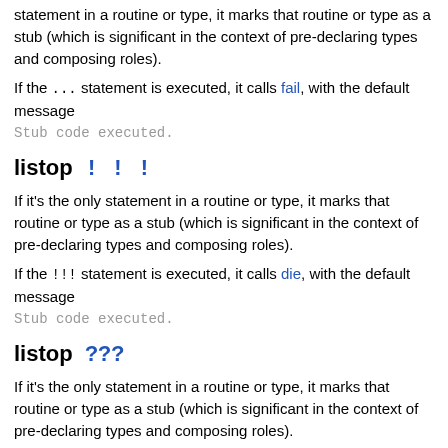statement in a routine or type, it marks that routine or type as a stub (which is significant in the context of pre-declaring types and composing roles).
If the ... statement is executed, it calls fail, with the default message Stub code executed.
listop !!!
If it's the only statement in a routine or type, it marks that routine or type as a stub (which is significant in the context of pre-declaring types and composing roles).
If the !!! statement is executed, it calls die, with the default message Stub code executed.
listop ???
If it's the only statement in a routine or type, it marks that routine or type as a stub (which is significant in the context of pre-declaring types and composing roles).
If the ??? statement is executed, it calls warn, with the default message Stub code executed.
Reduction operators